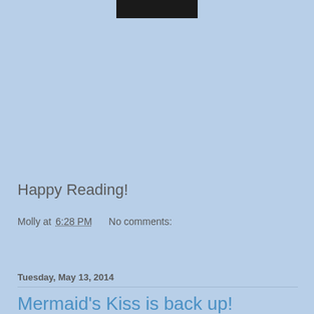[Figure (photo): Dark image thumbnail at top center of page]
Happy Reading!
Molly at 6:28 PM    No comments:
Share
Tuesday, May 13, 2014
Mermaid's Kiss is back up!